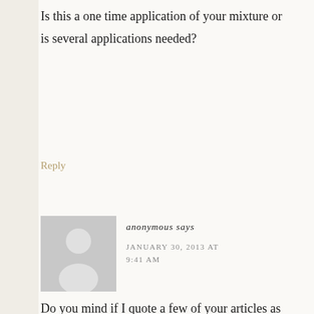Is this a one time application of your mixture or is several applications needed?
Reply
[Figure (illustration): Anonymous user avatar placeholder — gray silhouette of a person on a light gray square background]
anonymous says
JANUARY 30, 2013 AT 9:41 AM
Do you mind if I quote a few of your articles as long as I
provide credit and sources back to